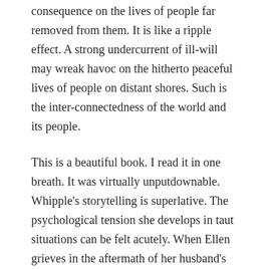consequence on the lives of people far removed from them. It is like a ripple effect. A strong undercurrent of ill-will may wreak havoc on the hitherto peaceful lives of people on distant shores. Such is the inter-connectedness of the world and its people.
This is a beautiful book. I read it in one breath. It was virtually unputdownable. Whipple's storytelling is superlative. The psychological tension she develops in taut situations can be felt acutely. When Ellen grieves in the aftermath of her husband's desertion, which has been dealt to her out of no wrong-doing of her own, we grieve along with her. We feel and comprehend her every emotion. We sympathize with her and we yearn for her strength and salvation. On the opposite side of the spectrum we despise Louise's every movement and intention. And we hope and pray for some kind of